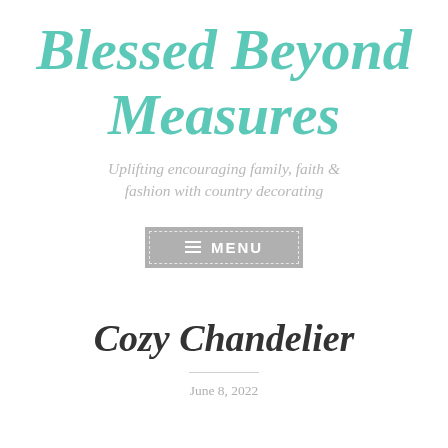Blessed Beyond Measures
Uplifting encouraging family, faith & fashion with country decorating
[Figure (other): Gray rectangular menu button with dashed white inner border, hamburger icon and MENU text in white]
Cozy Chandelier
June 8, 2022